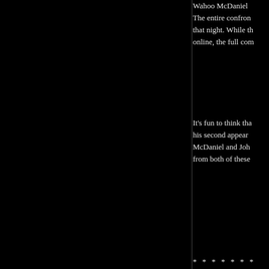Wahoo McDaniel... The entire confrontation that night. While the online, the full com...
It's fun to think that his second appearance McDaniel and John... from both of these...
* * * * * * *
I'd like to share one outside in the park... with Charlie Harvill...